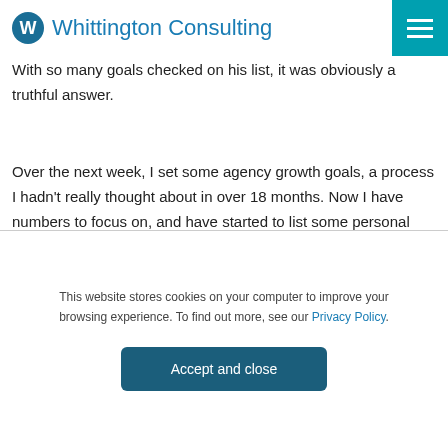Whittington Consulting
With so many goals checked on his list, it was obviously a truthful answer.
Over the next week, I set some agency growth goals, a process I hadn't really thought about in over 18 months. Now I have numbers to focus on, and have started to list some personal goals, even discussing them with my wife (who now wants to travel across the country in a motorhome once we're empty nesters).
This website stores cookies on your computer to improve your browsing experience. To find out more, see our Privacy Policy.
Accept and close